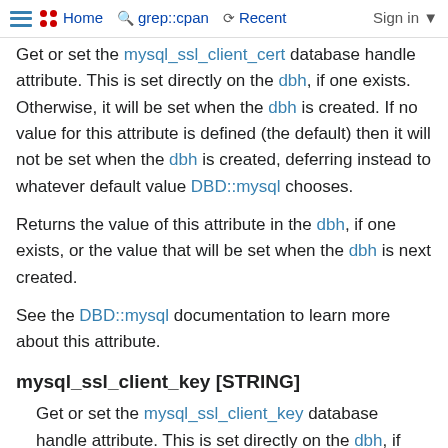Home | grep::cpan | Recent | Sign in
Get or set the mysql_ssl_client_cert database handle attribute. This is set directly on the dbh, if one exists. Otherwise, it will be set when the dbh is created. If no value for this attribute is defined (the default) then it will not be set when the dbh is created, deferring instead to whatever default value DBD::mysql chooses.
Returns the value of this attribute in the dbh, if one exists, or the value that will be set when the dbh is next created.
See the DBD::mysql documentation to learn more about this attribute.
mysql_ssl_client_key [STRING]
Get or set the mysql_ssl_client_key database handle attribute. This is set directly on the dbh, if one exists. Otherwise, it will be set when the